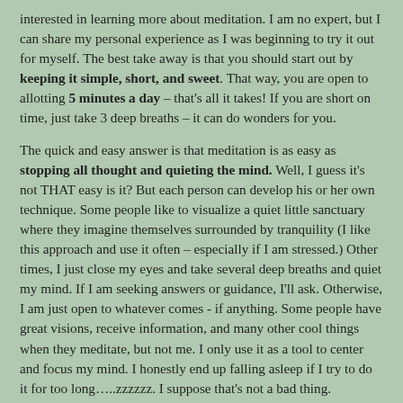interested in learning more about meditation. I am no expert, but I can share my personal experience as I was beginning to try it out for myself. The best take away is that you should start out by keeping it simple, short, and sweet. That way, you are open to allotting 5 minutes a day – that's all it takes! If you are short on time, just take 3 deep breaths – it can do wonders for you.
The quick and easy answer is that meditation is as easy as stopping all thought and quieting the mind. Well, I guess it's not THAT easy is it? But each person can develop his or her own technique. Some people like to visualize a quiet little sanctuary where they imagine themselves surrounded by tranquility (I like this approach and use it often – especially if I am stressed.) Other times, I just close my eyes and take several deep breaths and quiet my mind. If I am seeking answers or guidance, I'll ask. Otherwise, I am just open to whatever comes - if anything. Some people have great visions, receive information, and many other cool things when they meditate, but not me. I only use it as a tool to center and focus my mind. I honestly end up falling asleep if I try to do it for too long…..zzzzzz. I suppose that's not a bad thing.
I would like to share a tool that I used when I started trying different methods to help begin. I found his CD and want to